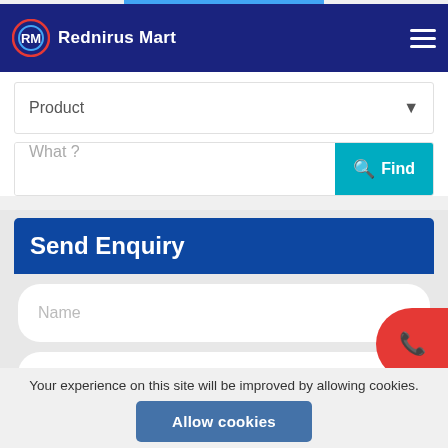Rednirus Mart
Product
What ?
Send Enquiry
Name
Phone
Query
Your experience on this site will be improved by allowing cookies.
Allow cookies